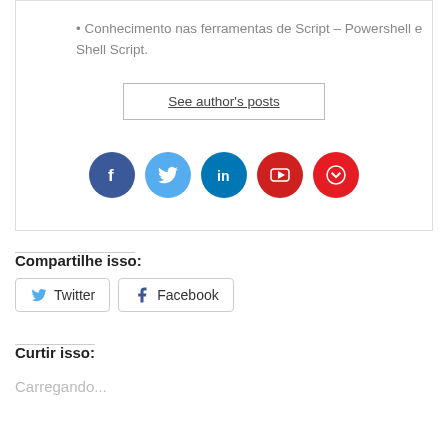• Conhecimento nas ferramentas de Script – Powershell e Shell Script.
See author's posts
[Figure (infographic): Row of 5 social media icons: Facebook (dark blue), Twitter (light blue), LinkedIn (teal blue), YouTube (red), Pocket (red)]
Compartilhe isso:
Twitter  Facebook
Curtir isso:
Carregando...